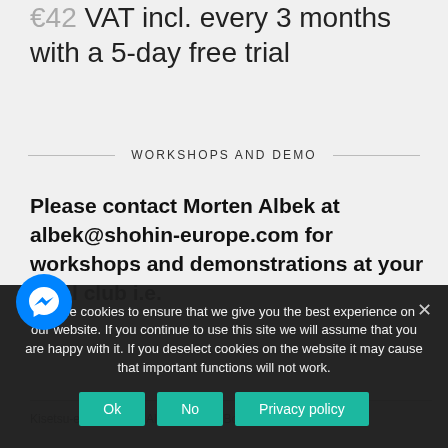€42 VAT incl. every 3 months with a 5-day free trial
WORKSHOPS AND DEMO
Please contact Morten Albek at albek@shohin-europe.com for workshops and demonstrations at your local club i.e.
Kisetsu-en by Morten Albek, Shohin Bonsai Europe, 2022
We use cookies to ensure that we give you the best experience on our website. If you continue to use this site we will assume that you are happy with it. If you deselect cookies on the website it may cause that important functions will not work.